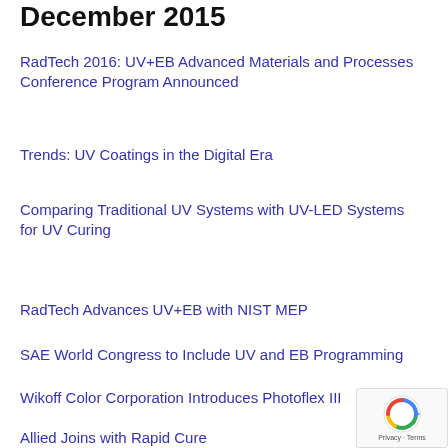December 2015
RadTech 2016: UV+EB Advanced Materials and Processes Conference Program Announced
Trends: UV Coatings in the Digital Era
Comparing Traditional UV Systems with UV-LED Systems for UV Curing
RadTech Advances UV+EB with NIST MEP
SAE World Congress to Include UV and EB Programming
Wikoff Color Corporation Introduces Photoflex III
Allied Joins with Rapid Cure